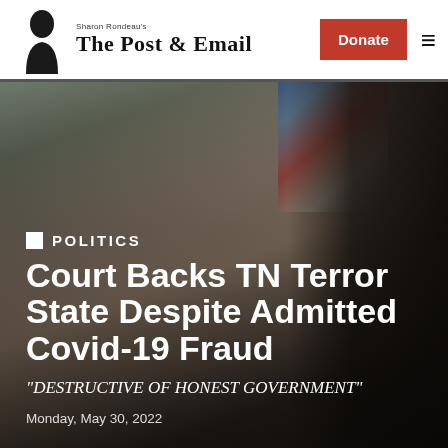Sharon Rondeau's The Post & Email — Donate | Menu
[Figure (photo): Hero image of people at an outdoor event with a flag in the background, overlaid with article headline text.]
POLITICS
Court Backs TN Terror State Despite Admitted Covid-19 Fraud
"DESTRUCTIVE OF HONEST GOVERNMENT"
Monday, May 30, 2022